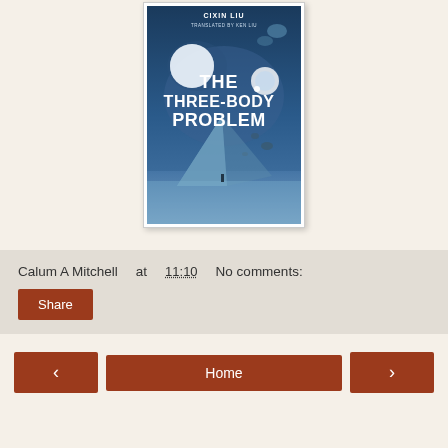[Figure (illustration): Book cover of 'The Three-Body Problem' by Cixin Liu, translated by Ken Liu. Blue cosmic scene with pyramids, planets, and a lone figure.]
Calum A Mitchell at 11:10   No comments:
Share
‹
Home
›